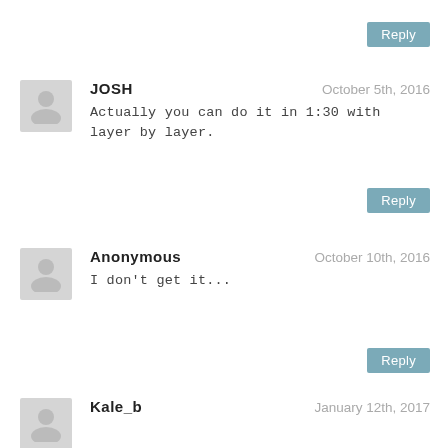Reply
JOSH
October 5th, 2016
Actually you can do it in 1:30 with layer by layer.
Reply
Anonymous
October 10th, 2016
I don't get it...
Reply
Kale_b
January 12th, 2017